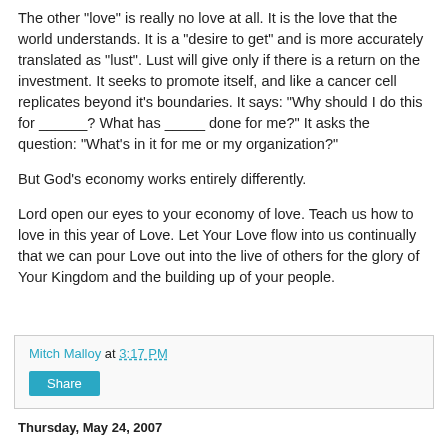The other "love" is really no love at all. It is the love that the world understands. It is a "desire to get" and is more accurately translated as "lust". Lust will give only if there is a return on the investment. It seeks to promote itself, and like a cancer cell replicates beyond it's boundaries. It says: "Why should I do this for ______? What has _____ done for me?" It asks the question: "What's in it for me or my organization?"
But God's economy works entirely differently.
Lord open our eyes to your economy of love. Teach us how to love in this year of Love. Let Your Love flow into us continually that we can pour Love out into the live of others for the glory of Your Kingdom and the building up of your people.
Mitch Malloy at 3:17 PM
Thursday, May 24, 2007